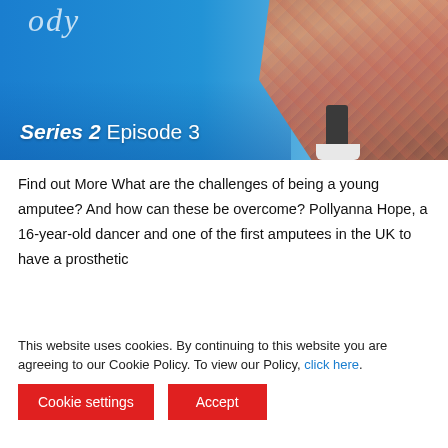[Figure (photo): Hero banner image with blue gradient background showing a person walking with a prosthetic leg. Text overlay reads 'Series 2 Episode 3' in white.]
Series 2 Episode 3
Find out More What are the challenges of being a young amputee? And how can these be overcome? Pollyanna Hope, a 16-year-old dancer and one of the first amputees in the UK to have a prosthetic
This website uses cookies. By continuing to this website you are agreeing to our Cookie Policy. To view our Policy, click here.